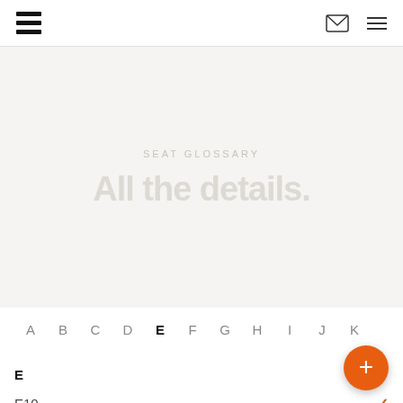SEAT logo, email icon, menu icon
All the details.
SEAT GLOSSARY
A B C D E F G H I J K
E
E10